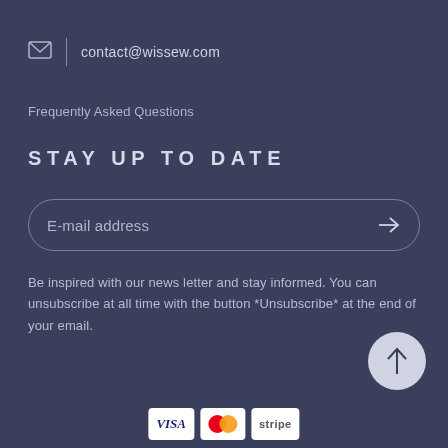contact@wissew.com
Frequently Asked Questions
STAY UP TO DATE
E-mail address
Be inspired with our news letter and stay informed. You can unsubscribe at all time with the button *Unsubscribe* at the end of your email.
[Figure (other): Scroll to top button with upward arrow]
[Figure (other): Payment method logos: VISA, MasterCard, Stripe]